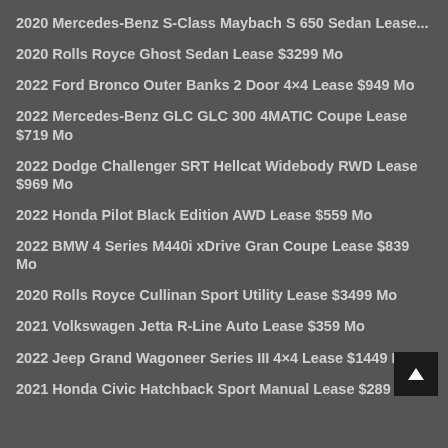2020 Mercedes-Benz S-Class Maybach S 650 Sedan Lease...
2020 Rolls Royce Ghost Sedan Lease $3299 Mo
2022 Ford Bronco Outer Banks 2 Door 4×4 Lease $949 Mo
2022 Mercedes-Benz GLC GLC 300 4MATIC Coupe Lease $719 Mo
2022 Dodge Challenger SRT Hellcat Widebody RWD Lease $969 Mo
2022 Honda Pilot Black Edition AWD Lease $559 Mo
2022 BMW 4 Series M440i xDrive Gran Coupe Lease $839 Mo
2020 Rolls Royce Cullinan Sport Utility Lease $3499 Mo
2021 Volkswagen Jetta R-Line Auto Lease $359 Mo
2022 Jeep Grand Wagoneer Series III 4×4 Lease $1449 Mo
2021 Honda Civic Hatchback Sport Manual Lease $289 Mo